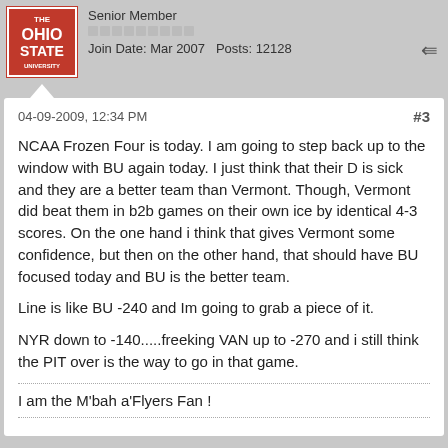Senior Member
Join Date: Mar 2007   Posts: 12128
04-09-2009, 12:34 PM
#3
NCAA Frozen Four is today. I am going to step back up to the window with BU again today. I just think that their D is sick and they are a better team than Vermont. Though, Vermont did beat them in b2b games on their own ice by identical 4-3 scores. On the one hand i think that gives Vermont some confidence, but then on the other hand, that should have BU focused today and BU is the better team.
Line is like BU -240 and Im going to grab a piece of it.
NYR down to -140.....freeking VAN up to -270 and i still think the PIT over is the way to go in that game.
I am the M'bah a'Flyers Fan !
FlyersFan
Senior Member
Join Date: Mar 2007   Posts: 12128